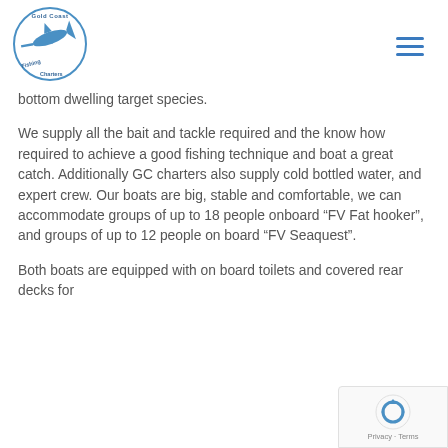Gold Coast Fishing Charters logo and navigation
bottom dwelling target species.
We supply all the bait and tackle required and the know how required to achieve a good fishing technique and boat a great catch. Additionally GC charters also supply cold bottled water, and expert crew. Our boats are big, stable and comfortable, we can accommodate groups of up to 18 people onboard “FV Fat hooker”, and groups of up to 12 people on board “FV Seaquest”.
Both boats are equipped with on board toilets and covered rear decks for